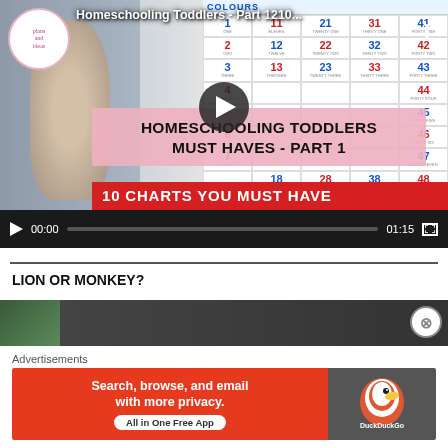[Figure (screenshot): YouTube-style video player showing 'Homeschooling Toddlers - Part 1' video thumbnail with pink overlay text 'HOMESCHOOLING TODDLERS MUST HAVES - PART 1' and red banner '10 CHARTS YOU MUST HAVE'. Video controls show 00:00 current time and 01:15 duration. Logo circle in top-left with 'plans and ideas' text.]
LION OR MONKEY?
[Figure (screenshot): Partial thumbnail of next video, dark strip showing another video preview.]
Advertisements
[Figure (screenshot): DuckDuckGo advertisement banner: 'Search, browse, and email with more privacy. All in One Free App' on orange-red background with DuckDuckGo duck logo on dark grey right panel.]